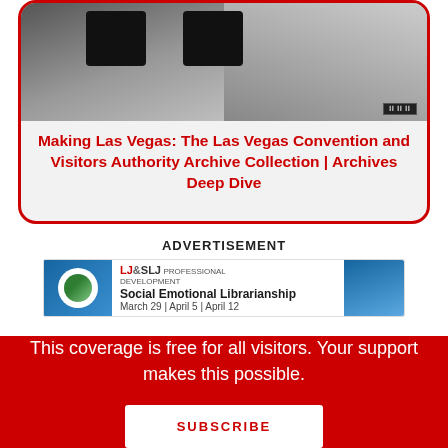[Figure (photo): Black and white photo showing casino chips or plaques and a hand, with a film strip watermark in the bottom right corner]
Making Las Vegas: The Las Vegas Convention and Visitors Authority Archive Collection | Archives Deep Dive
ADVERTISEMENT
[Figure (illustration): Advertisement banner for LJ&SLJ Professional Development: Social Emotional Librarianship, March 29 | April 5 | April 12]
This coverage is free for all visitors. Your support makes this possible.
SUBSCRIBE